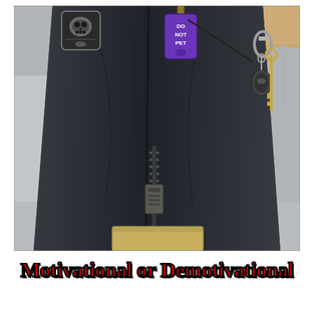[Figure (photo): Close-up photograph of a person wearing a dark navy/black jacket or vest. Visible items include a skull-style badge/patch on the upper left, a purple 'DO NOT PET' tag clipped to the front, keys on a carabiner clip hanging on the right side, and a zipper pull in the center midsection. The background shows a light gray floor.]
Motivational or Demotivational